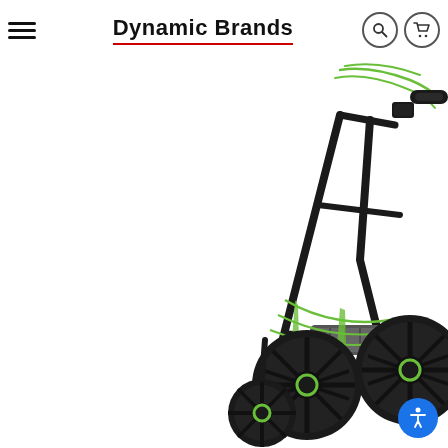Dynamic Brands
[Figure (photo): Partial view of a black and green three-wheel golf push cart, showing the folded frame with two rear wheels and one front wheel, black frame with green bungee cords, positioned in the right portion and bottom-right of the page against a white background.]